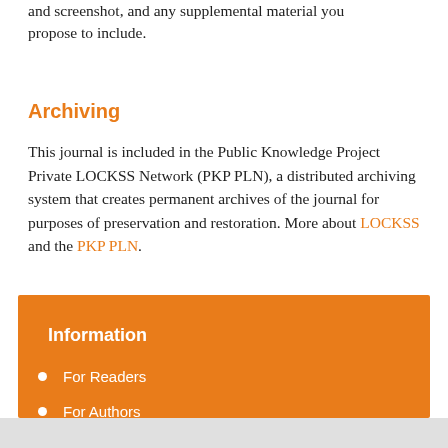and screenshot, and any supplemental material you propose to include.
Archiving
This journal is included in the Public Knowledge Project Private LOCKSS Network (PKP PLN), a distributed archiving system that creates permanent archives of the journal for purposes of preservation and restoration. More about LOCKSS and the PKP PLN.
Information
For Readers
For Authors
For Librarians